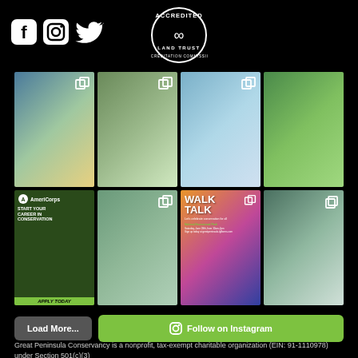[Figure (logo): Social media icons: Facebook, Instagram, Twitter (white on black)]
[Figure (logo): Accredited Land Trust Accreditation Commission circular badge with infinity symbol]
[Figure (infographic): Instagram grid of 8 photos: person smiling, glacier/animal, people on beach, people in blue shirts in nature, AmeriCorps ad, people at river, Walk Talk event poster, person holding yarn/ball]
Load More...
Follow on Instagram
Great Peninsula Conservancy is a nonprofit, tax-exempt charitable organization (EIN: 91-1110978) under Section 501(c)(3)